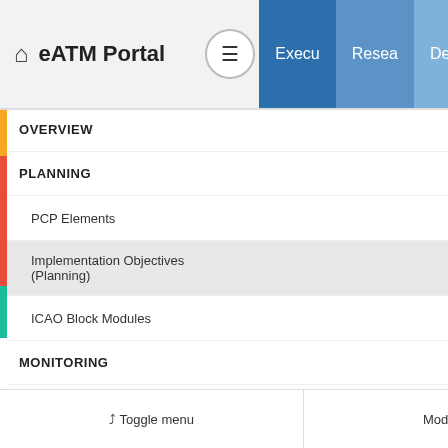eATM Portal — Execu | Resea | Deploy navigation header
OVERVIEW
PLANNING
PCP Elements [PCP]
Implementation Objectives (Planning) [OBJ]
ICAO Block Modules [ICAO]
MONITORING
Toggle menu | Mode: auto
Menu
/ Deployment View / Implementation Objectives (Planning) /
ITY-AGDL — Initial ATC A
Edition
Stakeholders
Last data refresh: 28-08-2022 / Portal version: 1.0.85.4.4170 (LDB)